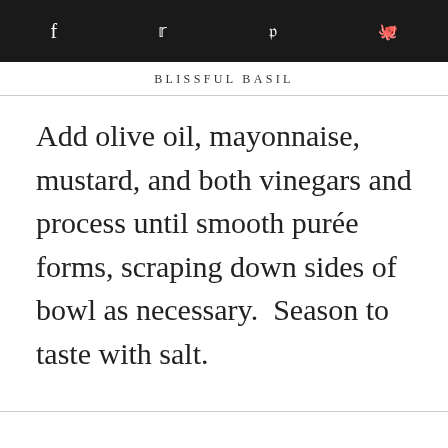BLISSFUL BASIL
Add olive oil, mayonnaise, mustard, and both vinegars and process until smooth purée forms, scraping down sides of bowl as necessary.  Season to taste with salt.